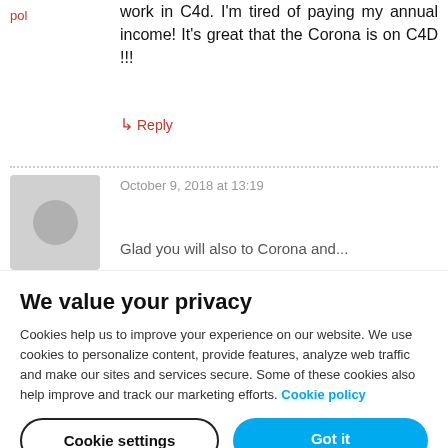pol
work in C4d. I'm tired of paying my annual income! It's great that the Corona is on C4D !!!
↳ Reply
October 9, 2018 at 13:19
[Figure (illustration): User avatar placeholder — grey square with grey circle]
Glad you will also to Corona and...
We value your privacy
Cookies help us to improve your experience on our website. We use cookies to personalize content, provide features, analyze web traffic and make our sites and services secure. Some of these cookies also help improve and track our marketing efforts. Cookie policy